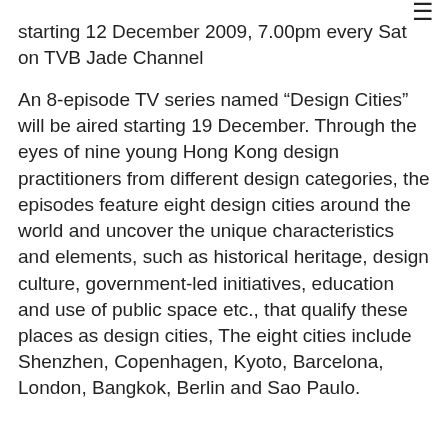starting 12 December 2009, 7.00pm every Sat on TVB Jade Channel
An 8-episode TV series named “Design Cities” will be aired starting 19 December. Through the eyes of nine young Hong Kong design practitioners from different design categories, the episodes feature eight design cities around the world and uncover the unique characteristics and elements, such as historical heritage, design culture, government-led initiatives, education and use of public space etc., that qualify these places as design cities, The eight cities include Shenzhen, Copenhagen, Kyoto, Barcelona, London, Bangkok, Berlin and Sao Paulo.